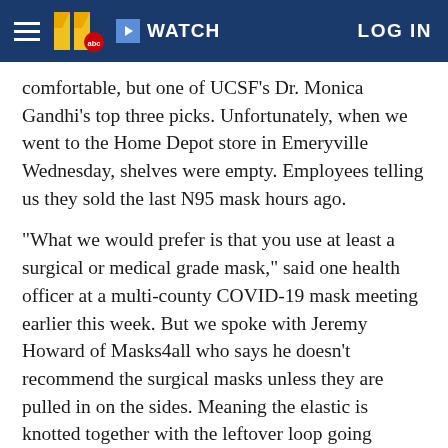[Figure (screenshot): Navigation bar with hamburger menu, WTVD ABC 11 logo, WATCH button, and LOG IN link on dark blue background]
comfortable, but one of UCSF's Dr. Monica Gandhi's top three picks. Unfortunately, when we went to the Home Depot store in Emeryville Wednesday, shelves were empty. Employees telling us they sold the last N95 mask hours ago.
"What we would prefer is that you use at least a surgical or medical grade mask," said one health officer at a multi-county COVID-19 mask meeting earlier this week. But we spoke with Jeremy Howard of Masks4all who says he doesn't recommend the surgical masks unless they are pulled in on the sides. Meaning the elastic is knotted together with the leftover loop going around your ears.